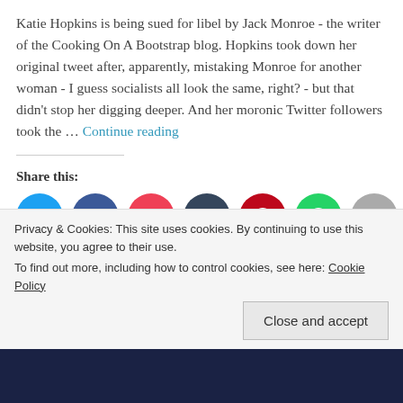Katie Hopkins is being sued for libel by Jack Monroe - the writer of the Cooking On A Bootstrap blog. Hopkins took down her original tweet after, apparently, mistaking Monroe for another woman - I guess socialists all look the same, right? - but that didn't stop her digging deeper. And her moronic Twitter followers took the … Continue reading
Share this:
[Figure (other): Row of social media share buttons: Twitter (blue), Facebook (dark blue), Pocket (red), Tumblr (dark teal), Pinterest (dark red), WhatsApp (green), Email (grey)]
Privacy & Cookies: This site uses cookies. By continuing to use this website, you agree to their use. To find out more, including how to control cookies, see here: Cookie Policy
Close and accept